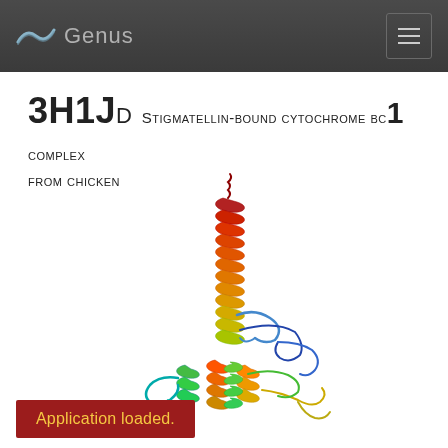Genus
3H1JD Stigmatellin-bound cytochrome bc1 complex from chicken
[Figure (illustration): 3D ribbon diagram of protein structure 3H1J chain D, showing a long alpha-helical coil colored in rainbow gradient from red at top through orange, yellow, green, teal, and blue at the bottom, with a small globular domain at the base containing multiple helices and loops]
Application loaded.